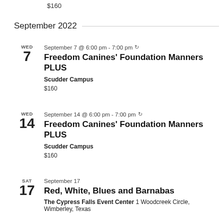$160
September 2022
WED 7 | September 7 @ 6:00 pm - 7:00 pm | Freedom Canines’ Foundation Manners PLUS | Scudder Campus | $160
WED 14 | September 14 @ 6:00 pm - 7:00 pm | Freedom Canines’ Foundation Manners PLUS | Scudder Campus | $160
SAT 17 | September 17 | Red, White, Blues and Barnabas | The Cypress Falls Event Center 1 Woodcreek Circle, Wimberley, Texas